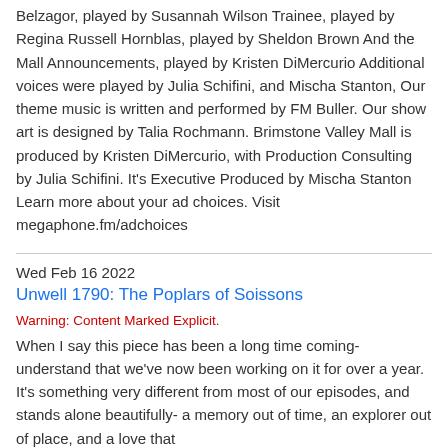Belzagor, played by Susannah Wilson Trainee, played by Regina Russell Hornblas, played by Sheldon Brown And the Mall Announcements, played by Kristen DiMercurio Additional voices were played by Julia Schifini, and Mischa Stanton, Our theme music is written and performed by FM Buller. Our show art is designed by Talia Rochmann. Brimstone Valley Mall is produced by Kristen DiMercurio, with Production Consulting by Julia Schifini. It's Executive Produced by Mischa Stanton Learn more about your ad choices. Visit megaphone.fm/adchoices
Wed Feb 16 2022
Unwell 1790: The Poplars of Soissons
Warning: Content Marked Explicit.
When I say this piece has been a long time coming- understand that we've now been working on it for over a year. It's something very different from most of our episodes, and stands alone beautifully- a memory out of time, an explorer out of place, and a love that